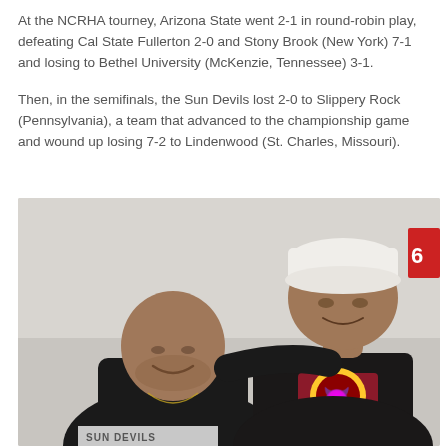At the NCRHA tourney, Arizona State went 2-1 in round-robin play, defeating Cal State Fullerton 2-0 and Stony Brook (New York) 7-1 and losing to Bethel University (McKenzie, Tennessee) 3-1.
Then, in the semifinals, the Sun Devils lost 2-0 to Slippery Rock (Pennsylvania), a team that advanced to the championship game and wound up losing 7-2 to Lindenwood (St. Charles, Missouri).
[Figure (photo): Two men posing together indoors. The man on the left is heavier-set, wearing a black hoodie with a chain necklace. The man on the right is wearing a black Reebok hockey jersey with an Arizona State Sun Devils logo (maroon and gold) and a white backwards cap. They are smiling at the camera.]